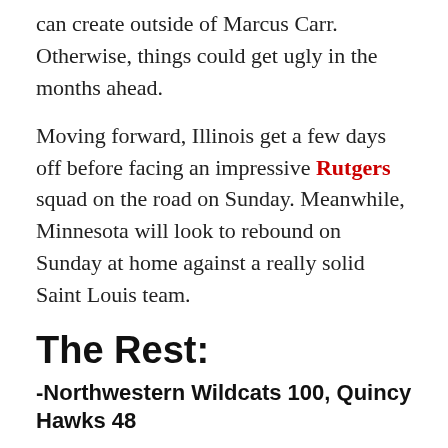can create outside of Marcus Carr. Otherwise, things could get ugly in the months ahead.
Moving forward, Illinois get a few days off before facing an impressive Rutgers squad on the road on Sunday. Meanwhile, Minnesota will look to rebound on Sunday at home against a really solid Saint Louis team.
The Rest:
-Northwestern Wildcats 100, Quincy Hawks 48
This one was a late scheduling after Northwestern saw some recent cancellations. Nonetheless, it didn't prove to be a particularly entertaining game. The Wildcats cruised to a 52-point win and Miller Kopp led the way with 23 points. Northwestern now sits at 3-1 with the win and will prepare for a matchup against Michigan State...